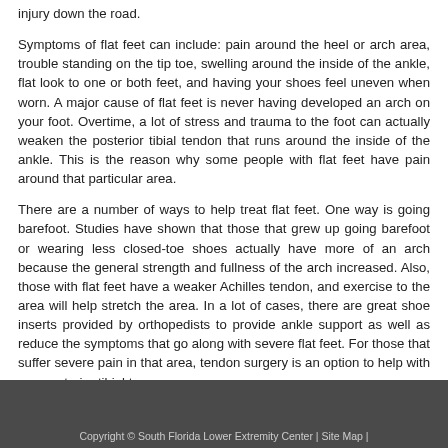injury down the road.
Symptoms of flat feet can include: pain around the heel or arch area, trouble standing on the tip toe, swelling around the inside of the ankle, flat look to one or both feet, and having your shoes feel uneven when worn. A major cause of flat feet is never having developed an arch on your foot. Overtime, a lot of stress and trauma to the foot can actually weaken the posterior tibial tendon that runs around the inside of the ankle. This is the reason why some people with flat feet have pain around that particular area.
There are a number of ways to help treat flat feet. One way is going barefoot. Studies have shown that those that grew up going barefoot or wearing less closed-toe shoes actually have more of an arch because the general strength and fullness of the arch increased. Also, those with flat feet have a weaker Achilles tendon, and exercise to the area will help stretch the area. In a lot of cases, there are great shoe inserts provided by orthopedists to provide ankle support as well as reduce the symptoms that go along with severe flat feet. For those that suffer severe pain in that area, tendon surgery is an option to help with any posterior tibial tears.
Copyright © South Florida Lower Extremity Center | Site Map |...